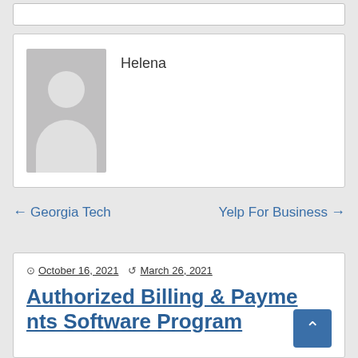[Figure (photo): Grey avatar placeholder image with a circular head and body silhouette on a grey background]
Helena
← Georgia Tech
Yelp For Business →
October 16, 2021  March 26, 2021
Authorized Billing & Payments Software Program